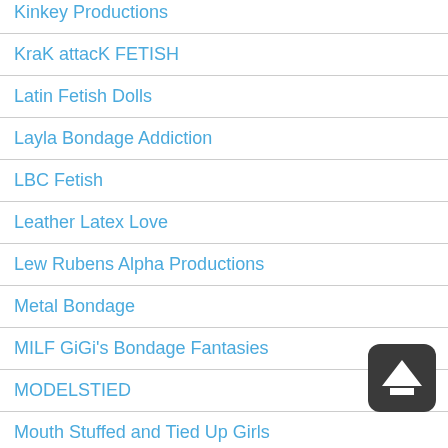Kinkey Productions
KraK attacK FETISH
Latin Fetish Dolls
Layla Bondage Addiction
LBC Fetish
Leather Latex Love
Lew Rubens Alpha Productions
Metal Bondage
MILF GiGi's Bondage Fantasies
MODELSTIED
Mouth Stuffed and Tied Up Girls
My Fetish Addictions
Scorpe World...